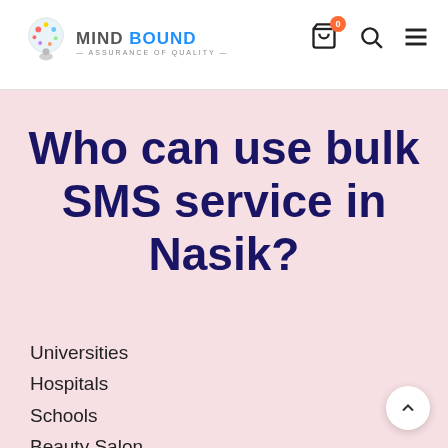MIND BOUND — assurance of quality | Navigation icons: cart (0), search, menu
Who can use bulk SMS service in Nasik?
Universities
Hospitals
Schools
Beauty Salon